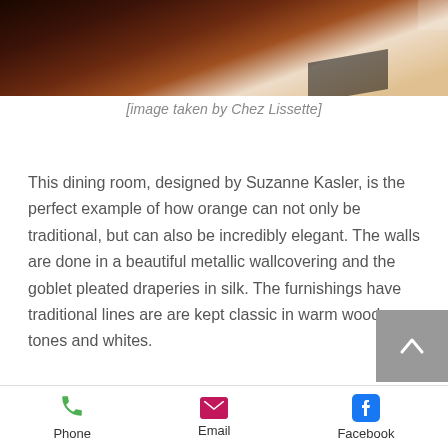[Figure (photo): Close-up photo of dark amber/brown glass bottle or object with blurred background, top portion of image]
[image taken by Chez Lissette]
This dining room, designed by Suzanne Kasler, is the perfect example of how orange can not only be traditional, but can also be incredibly elegant. The walls are done in a beautiful metallic wallcovering and the goblet pleated draperies in silk. The furnishings have traditional lines are are kept classic in warm wood tones and whites.
[Figure (photo): Partial view of a chandelier hanging from a ceiling, warm beige/cream tones]
Phone   Email   Facebook